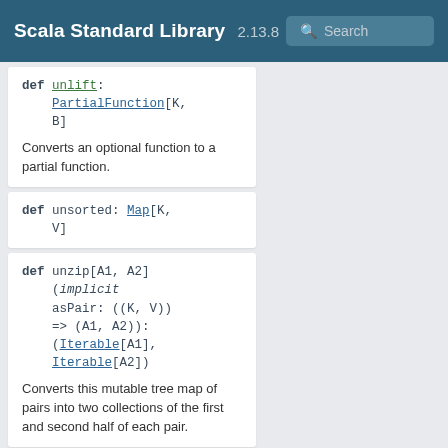Scala Standard Library 2.13.8 Search
def unlift: PartialFunction[K, B]
Converts an optional function to a partial function.
def unsorted: Map[K, V]
def unzip[A1, A2](implicit asPair: ((K, V)) => (A1, A2)): (Iterable[A1], Iterable[A2])
Converts this mutable tree map of pairs into two collections of the first and second half of each pair.